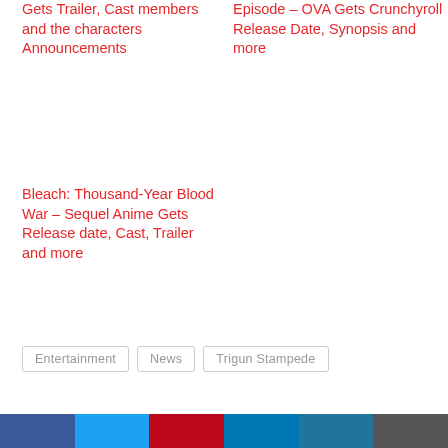Gets Trailer, Cast members and the characters Announcements
Episode – OVA Gets Crunchyroll Release Date, Synopsis and more
Bleach: Thousand-Year Blood War – Sequel Anime Gets Release date, Cast, Trailer and more
Entertainment
News
Trigun Stampede
[Figure (other): Social share buttons row: Facebook, Twitter, Pinterest, LinkedIn, WordPress, More]